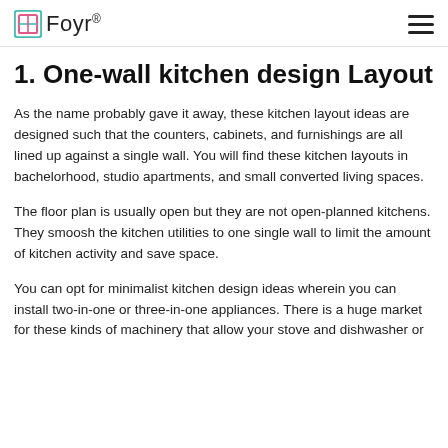Foyr®
1. One-wall kitchen design Layout
As the name probably gave it away, these kitchen layout ideas are designed such that the counters, cabinets, and furnishings are all lined up against a single wall. You will find these kitchen layouts in bachelorhood, studio apartments, and small converted living spaces.
The floor plan is usually open but they are not open-planned kitchens. They smoosh the kitchen utilities to one single wall to limit the amount of kitchen activity and save space.
You can opt for minimalist kitchen design ideas wherein you can install two-in-one or three-in-one appliances. There is a huge market for these kinds of machinery that allow your stove and dishwasher or